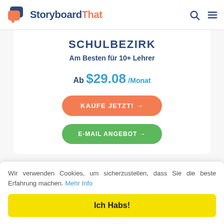[Figure (logo): StoryboardThat logo with chat bubble icons and brand name]
SCHULBEZIRK
Am Besten für 10+ Lehrer
Ab $29.08 /Monat
KAUFE JETZT! →
E-MAIL ANGEBOT →
Wir verwenden Cookies, um sicherzustellen, dass Sie die beste Erfahrung machen. Mehr Info
Ich Habs!